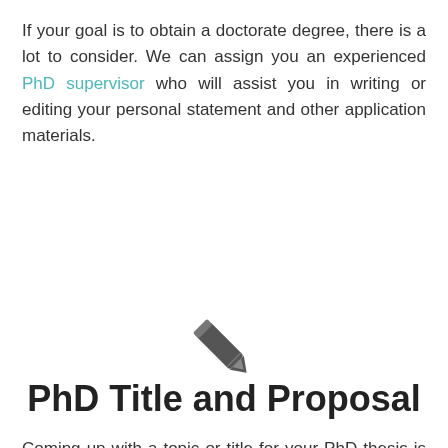If your goal is to obtain a doctorate degree, there is a lot to consider. We can assign you an experienced PhD supervisor who will assist you in writing or editing your personal statement and other application materials.
[Figure (illustration): A pencil/edit icon in dark grey color, centered on the page]
PhD Title and Proposal
Coming up with a topic or title for your PhD thesis is one of the most important stages of completing a doctorate degree. It may seem straightforward, but in reality, coming up with a workable title is critical to the success of your PhD journey. Our team of writers will help you devise a strong and